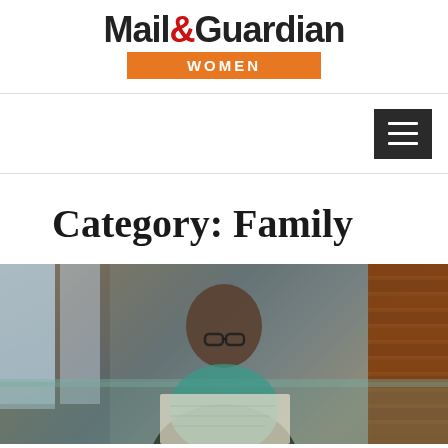Mail&Guardian WOMEN
[Figure (other): Hamburger/menu button icon (three horizontal lines) on dark background]
Category: Family
[Figure (photo): A bald man wearing glasses, sitting at a table and looking down, possibly reading. Interior setting with brick wall on the right and windows in the background.]